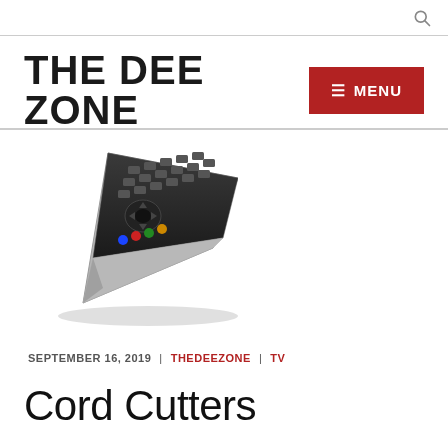THE DEE ZONE
[Figure (illustration): TV remote control, black and silver, angled view]
SEPTEMBER 16, 2019  |  THEDEEZONE  |  TV
Cord Cutters